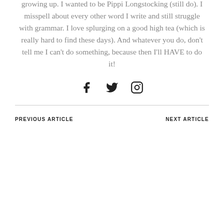growing up. I wanted to be Pippi Longstocking (still do). I misspell about every other word I write and still struggle with grammar. I love splurging on a good high tea (which is really hard to find these days). And whatever you do, don't tell me I can't do something, because then I'll HAVE to do it!
[Figure (infographic): Social media icons: Facebook (f), Twitter (bird), Instagram (camera)]
PREVIOUS ARTICLE    NEXT ARTICLE